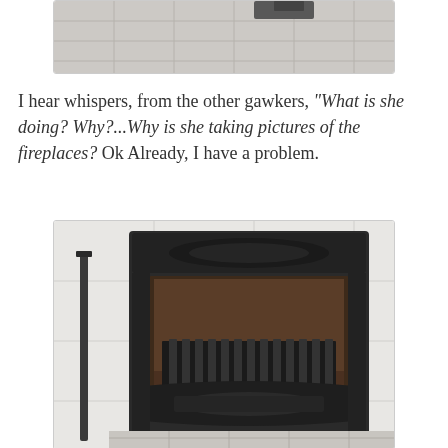[Figure (photo): Top portion of a fireplace photo showing tiled floor/hearth area, partially cropped]
I hear whispers, from the other gawkers, “What is she doing? Why?...Why is she taking pictures of the fireplaces? Ok Already, I have a problem.
[Figure (photo): A decorative cast iron fireplace insert with ornate black surround, fireplace grate with vertical bars, ash pan, set into white tile surround. A fireplace tool handle is visible on the left side.]